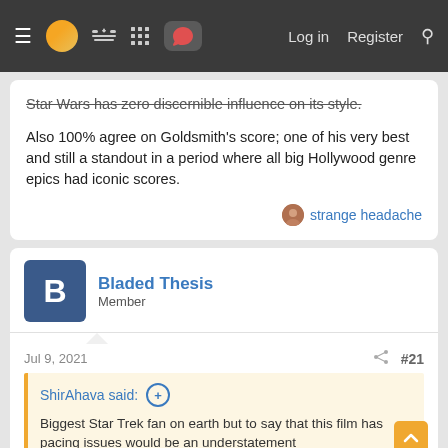Navigation bar with menu, logo, controller, grid, chat icons, Log in, Register, Search
Star Wars has zero discernible influence on its style.
Also 100% agree on Goldsmith's score; one of his very best and still a standout in a period where all big Hollywood genre epics had iconic scores.
strange headache
Bladed Thesis
Member
Jul 9, 2021
#21
ShirAhava said:
Biggest Star Trek fan on earth but to say that this film has pacing issues would be an understatement

A good hour of it could just...disappear and nothing of value would